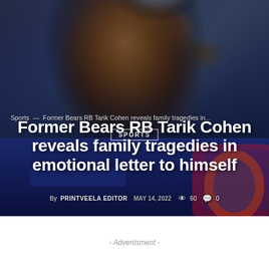[Figure (photo): Close-up photo of former Chicago Bears RB Tarik Cohen wearing a navy blue Bears jersey and football helmet, looking to the side with an intense expression. Dark, moody background.]
Sports — Former Bears RB Tarik Cohen reveals family tragedies in...
SPORTS
Former Bears RB Tarik Cohen reveals family tragedies in emotional letter to himself
By PRINTVEELA EDITOR   MAY 14, 2022   60   0
- Advertisment -